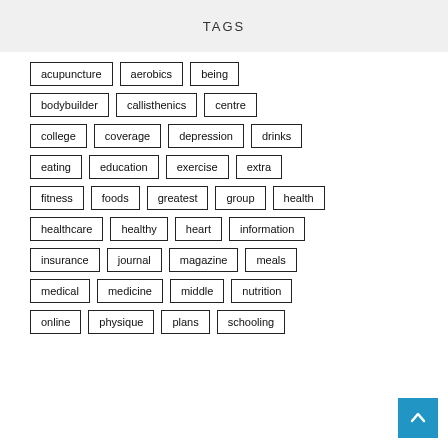TAGS
acupuncture
aerobics
being
bodybuilder
callisthenics
centre
college
coverage
depression
drinks
eating
education
exercise
extra
fitness
foods
greatest
group
health
healthcare
healthy
heart
information
insurance
journal
magazine
meals
medical
medicine
middle
nutrition
online
physique
plans
schooling